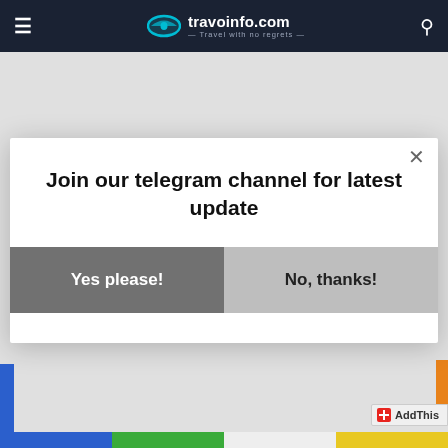travoinfo.com — Travel with no regrets —
Join our telegram channel for latest update
Yes please!
No, thanks!
[Figure (screenshot): Modal popup on travoinfo.com travel website asking users to join their Telegram channel, with Yes please! and No, thanks! buttons]